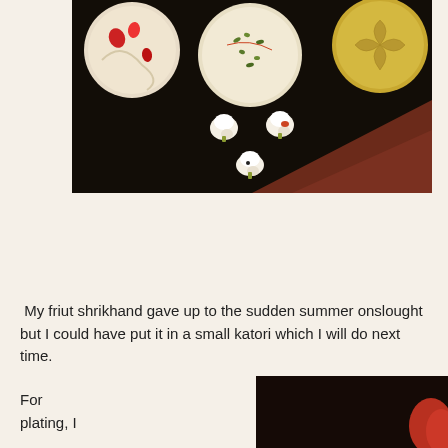[Figure (photo): Overhead view of Indian sweets (shrikhand, sandesh) on a dark plate, with small white popcorn-like pieces scattered below the larger sweets. Dark background with reddish wooden surface visible.]
My friut shrikhand gave up to the sudden summer onslought but I could have put it in a small katori which I will do next time.
For plating, I
[Figure (photo): Partial photo showing a dark background with a reddish object visible at the right edge.]